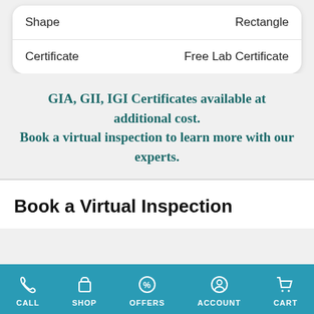| Shape | Rectangle |
| Certificate | Free Lab Certificate |
GIA, GII, IGI Certificates available at additional cost.
Book a virtual inspection to learn more with our experts.
Book a Virtual Inspection
CALL  SHOP  OFFERS  ACCOUNT  CART